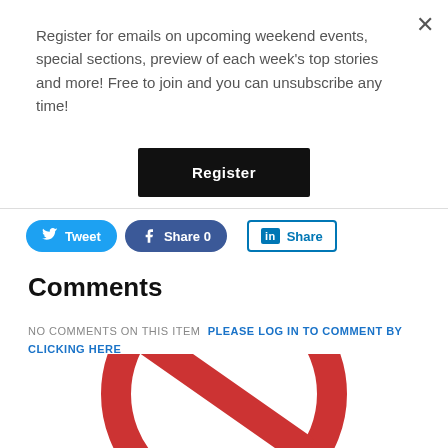Register for emails on upcoming weekend events, special sections, preview of each week's top stories and more! Free to join and you can unsubscribe any time!
[Figure (other): Black Register button]
[Figure (other): Social share buttons: Tweet (Twitter), Share 0 (Facebook), Share (LinkedIn)]
Comments
NO COMMENTS ON THIS ITEM   PLEASE LOG IN TO COMMENT BY CLICKING HERE
[Figure (illustration): Red prohibition/no sign (circle with diagonal bar) partially visible at bottom of page]